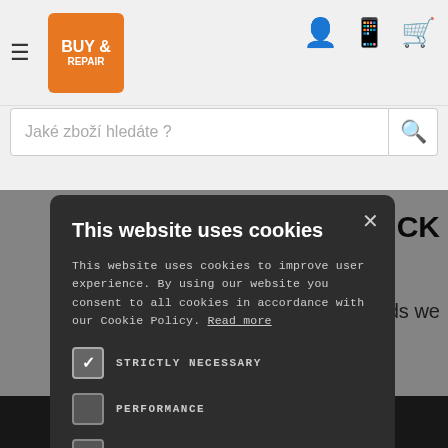[Figure (screenshot): Buy & Repair website header with hamburger menu, logo, user/phone/basket icons, search bar, and partial page content behind a cookie consent modal dialog]
This website uses cookies
This website uses cookies to improve user experience. By using our website you consent to all cookies in accordance with our Cookie Policy. Read more
STRICTLY NECESSARY (checked)
PERFORMANCE
FUNCTIONALITY
ACCEPT ALL | DECLINE ALL
SHOW DETAILS
Who BUY and REPAIR is ?